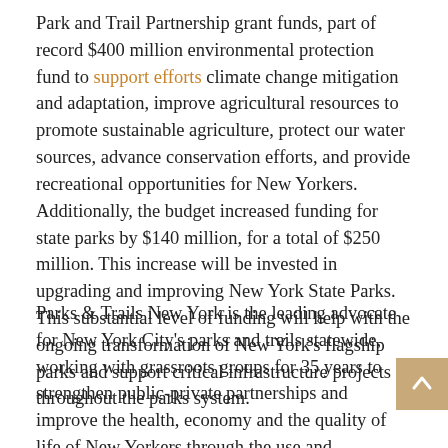Park and Trail Partnership grant funds, part of record $400 million environmental protection fund to support efforts climate change mitigation and adaptation, improve agricultural resources to promote sustainable agriculture, protect our water sources, advance conservation efforts, and provide recreational opportunities for New Yorkers. Additionally, the budget increased funding for state parks by $140 million, for a total of $250 million. This increase will be invested in upgrading and improving New York State Parks. This substantial level of funding will help with the ongoing transformation of New York's flagship parks and support critical infrastructure projects throughout the parks system.
Parks & Trails New York is the leading advocate for New York City's parks and trails statewide, working with grassroots groups for 35 years to strengthen public-private partnerships and improve the health, economy and the quality of life of New Yorkers through the use and enjoyment of green spaces. . For more information, visit www.ptny.org.